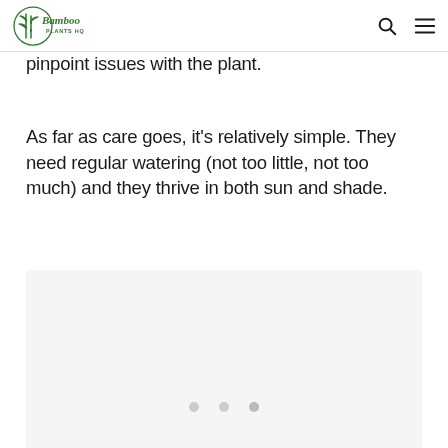Bamboo Plants HQ
pinpoint issues with the plant.
As far as care goes, it's relatively simple. They need regular watering (not too little, not too much) and they thrive in both sun and shade.
[Figure (photo): Image placeholder with three pagination dots at the bottom, light gray background]